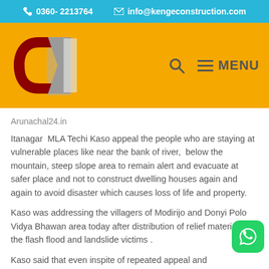0360- 2213764   info@kengeconstruction.com
[Figure (logo): Kenge Construction logo with red and grey geometric shape and vertical text 'KENGE CONSTRUCTION']
Arunachal24.in
Itanagar  MLA Techi Kaso appeal the people who are staying at vulnerable places like near the bank of river,  below the mountain, steep slope area to remain alert and evacuate at safer place and not to construct dwelling houses again and again to avoid disaster which causes loss of life and property.
Kaso was addressing the villagers of Modirijo and Donyi Polo Vidya Bhawan area today after distribution of relief materials to the flash flood and landslide victims .
Kaso said that even inspite of repeated appeal and